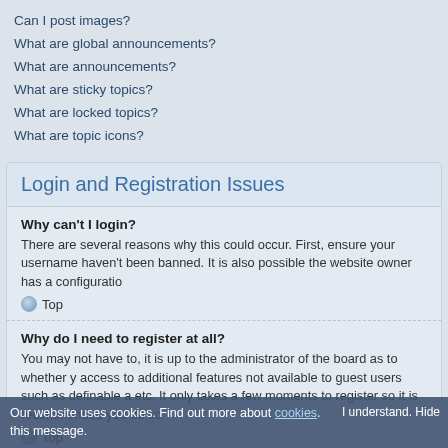Can I post images?
What are global announcements?
What are announcements?
What are sticky topics?
What are locked topics?
What are topic icons?
Login and Registration Issues
Why can't I login?
There are several reasons why this could occur. First, ensure your username haven't been banned. It is also possible the website owner has a configuratio
Top
Why do I need to register at all?
You may not have to, it is up to the administrator of the board as to whether y access to additional features not available to guest users such as definable a etc. It only takes a few moments to register so it is recommended you do so.
Top
Why do I get logged off automatically?
If you do not check the Log me in automatically box when you login, the bo account by anyone else. To stay logged in, check the box during login. This is internet cafe, university computer lab etc. If you do not see this checkbox, it
Top
Our website uses cookies. Find out more about cookies. I understand. Hide this message.